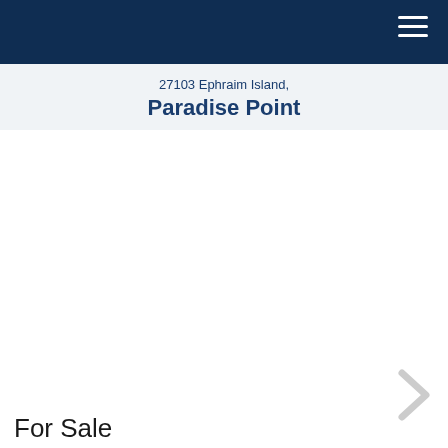27103 Ephraim Island, Paradise Point
[Figure (photo): Real estate property photo area with a right-arrow chevron navigation button on the right side]
For Sale